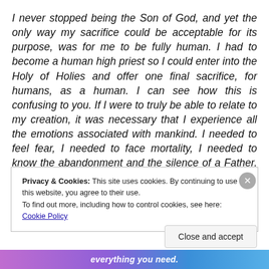I never stopped being the Son of God, and yet the only way my sacrifice could be acceptable for its purpose, was for me to be fully human. I had to become a human high priest so I could enter into the Holy of Holies and offer one final sacrifice, for humans, as a human. I can see how this is confusing to you. If I were to truly be able to relate to my creation, it was necessary that I experience all the emotions associated with mankind. I needed to feel fear, I needed to face mortality, I needed to know the abandonment and the silence of a Father. It is only
Privacy & Cookies: This site uses cookies. By continuing to use this website, you agree to their use.
To find out more, including how to control cookies, see here: Cookie Policy
Close and accept
everything you need.